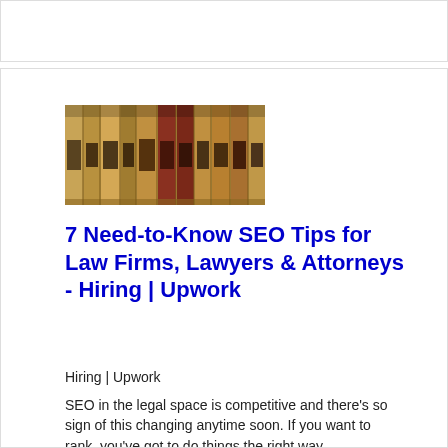[Figure (photo): Row of law books with tan/brown spines and dark labels on library shelf, photographed at an angle]
7 Need-to-Know SEO Tips for Law Firms, Lawyers & Attorneys - Hiring | Upwork
Hiring | Upwork
SEO in the legal space is competitive and there's so sign of this changing anytime soon. If you want to rank, you've got to do things the right way.